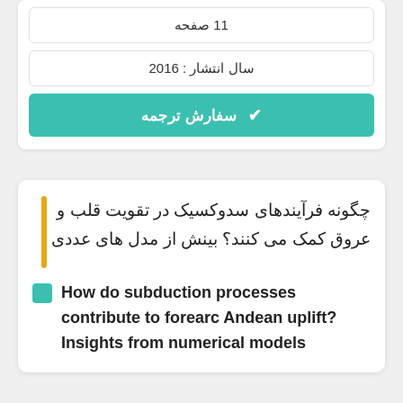11 صفحه
سال انتشار : 2016
✔ سفارش ترجمه
چگونه فرآیندهای سدوکسیک در تقویت قلب و عروق کمک می کنند؟ بینش از مدل های عددی
How do subduction processes contribute to forearc Andean uplift? Insights from numerical models